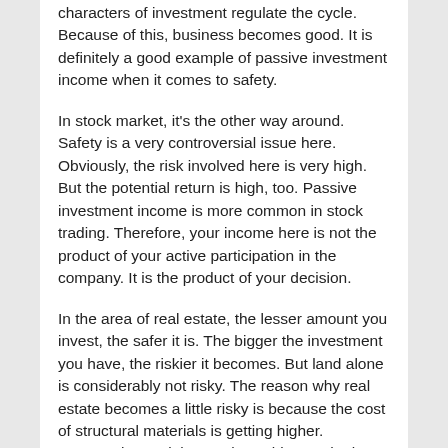characters of investment regulate the cycle. Because of this, business becomes good. It is definitely a good example of passive investment income when it comes to safety.
In stock market, it's the other way around. Safety is a very controversial issue here. Obviously, the risk involved here is very high. But the potential return is high, too. Passive investment income is more common in stock trading. Therefore, your income here is not the product of your active participation in the company. It is the product of your decision.
In the area of real estate, the lesser amount you invest, the safer it is. The bigger the investment you have, the riskier it becomes. But land alone is considerably not risky. The reason why real estate becomes a little risky is because the cost of structural materials is getting higher. Structural materials are also subject to the law of supply and demand. So, if we only rely on land for passive investment income by renting it out, our passive income will not be affected by any price fluctuation.